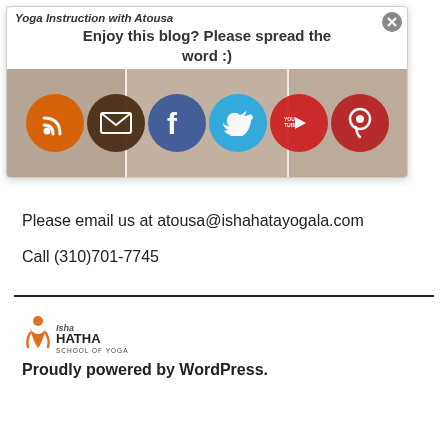Yoga Instruction with Atousa
Enjoy this blog? Please spread the word :)
[Figure (infographic): Social sharing icons strip showing RSS (orange), Email (dark brown), Facebook (blue), Twitter (blue), YouTube (red), Pinterest (red) circular buttons overlaid on yoga studio photos]
Please email us at atousa@ishahatayogala.com
Call (310)701-7745
[Figure (logo): Isha Hatha School of Yoga logo with orange figure and text]
Proudly powered by WordPress.